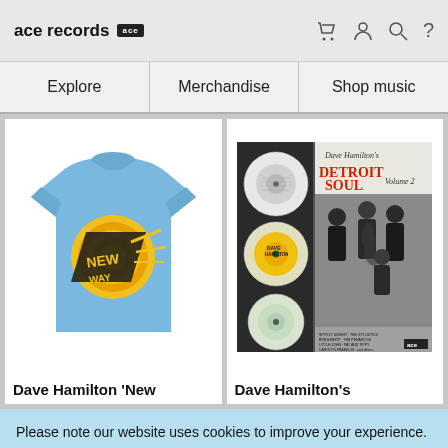ace records
Explore | Merchandise | Shop music
[Figure (photo): Blue t-shirt with yellow and black New Way Records logo graphic]
Dave Hamilton 'New
[Figure (photo): Dave Hamilton's Detroit Soul Volume 2 album cover with vinyl records and band photo]
Dave Hamilton's
Please note our website uses cookies to improve your experience. I understand. For more information see our Privacy Notice & Cookie Policy.